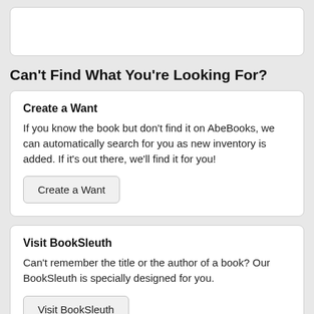Can't Find What You're Looking For?
Create a Want
If you know the book but don't find it on AbeBooks, we can automatically search for you as new inventory is added. If it's out there, we'll find it for you!
Visit BookSleuth
Can't remember the title or the author of a book? Our BookSleuth is specially designed for you.